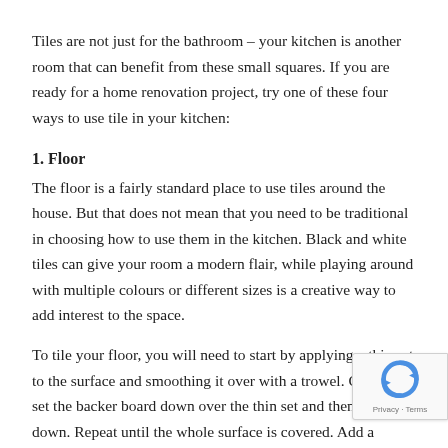Tiles are not just for the bathroom – your kitchen is another room that can benefit from these small squares. If you are ready for a home renovation project, try one of these four ways to use tile in your kitchen:
1. Floor
The floor is a fairly standard place to use tiles around the house. But that does not mean that you need to be traditional in choosing how to use them in the kitchen. Black and white tiles can give your room a modern flair, while playing around with multiple colours or different sizes is a creative way to add interest to the space.
To tile your floor, you will need to start by applying a thin set to the surface and smoothing it over with a trowel. Carefully set the backer board down over the thin set and then the piece down. Repeat until the whole surface is covered. Add a coating of thin set to the top of the backer